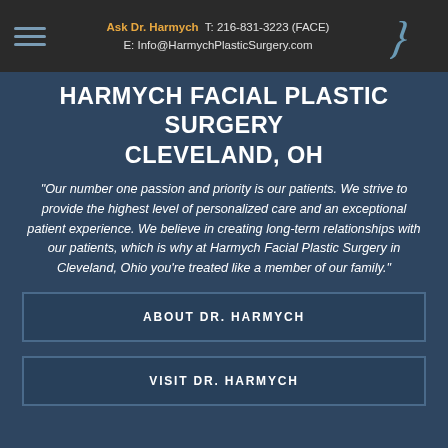Ask Dr. Harmych  T: 216-831-3223 (FACE)  E: Info@HarmychPlasticSurgery.com
HARMYCH FACIAL PLASTIC SURGERY CLEVELAND, OH
"Our number one passion and priority is our patients. We strive to provide the highest level of personalized care and an exceptional patient experience. We believe in creating long-term relationships with our patients, which is why at Harmych Facial Plastic Surgery in Cleveland, Ohio you're treated like a member of our family."
ABOUT DR. HARMYCH
VISIT DR. HARMYCH